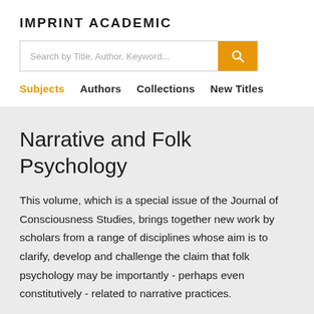IMPRINT ACADEMIC
Search by Title, Author, Keyword...
Subjects  Authors  Collections  New Titles
Narrative and Folk Psychology
This volume, which is a special issue of the Journal of Consciousness Studies, brings together new work by scholars from a range of disciplines whose aim is to clarify, develop and challenge the claim that folk psychology may be importantly - perhaps even constitutively - related to narrative practices.